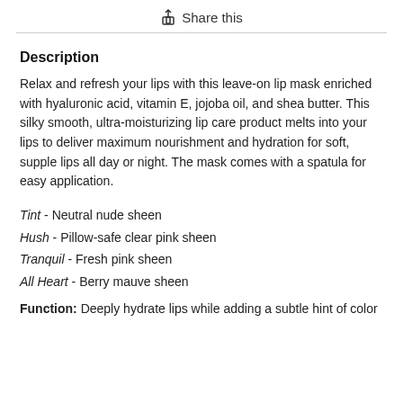Share this
Description
Relax and refresh your lips with this leave-on lip mask enriched with hyaluronic acid, vitamin E, jojoba oil, and shea butter. This silky smooth, ultra-moisturizing lip care product melts into your lips to deliver maximum nourishment and hydration for soft, supple lips all day or night. The mask comes with a spatula for easy application.
Tint - Neutral nude sheen
Hush - Pillow-safe clear pink sheen
Tranquil - Fresh pink sheen
All Heart - Berry mauve sheen
Function: Deeply hydrate lips while adding a subtle hint of color